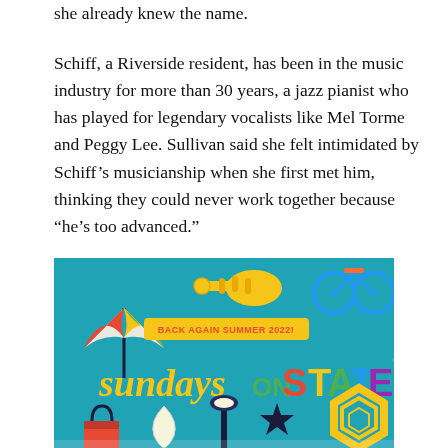she already knew the name.
Schiff, a Riverside resident, has been in the music industry for more than 30 years, a jazz pianist who has played for legendary vocalists like Mel Torme and Peggy Lee. Sullivan said she felt intimidated by Schiff's musicianship when she first met him, thinking they could never work together because “he’s too advanced.”
[Figure (illustration): Colorful promotional banner for 'Sundays on State' event, Back Again Summer 2022, featuring a beach umbrella, trumpet, bicycle, shopping bags, wine glass, street lamp, and star icons on a teal background.]